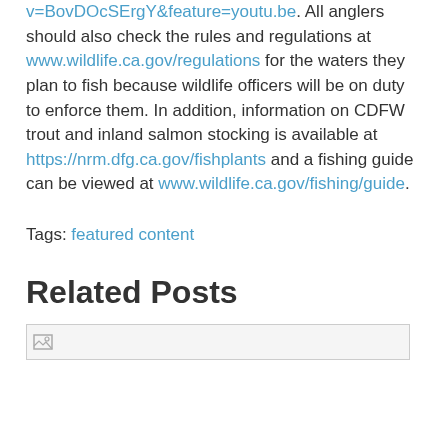v=BovDOcSErgY&feature=youtu.be. All anglers should also check the rules and regulations at www.wildlife.ca.gov/regulations for the waters they plan to fish because wildlife officers will be on duty to enforce them. In addition, information on CDFW trout and inland salmon stocking is available at https://nrm.dfg.ca.gov/fishplants and a fishing guide can be viewed at www.wildlife.ca.gov/fishing/guide.
Tags: featured content
Related Posts
[Figure (photo): Broken image placeholder thumbnail]